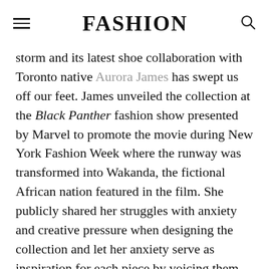FASHION
storm and its latest shoe collaboration with Toronto native Aurora James has swept us off our feet. James unveiled the collection at the Black Panther fashion show presented by Marvel to promote the movie during New York Fashion Week where the runway was transformed into Wakanda, the fictional African nation featured in the film. She publicly shared her struggles with anxiety and creative pressure when designing the collection and let her anxiety serve as inspiration for each piece by voicing them out.